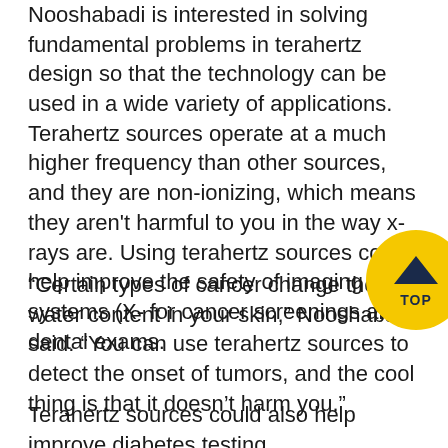Nooshabadi is interested in solving fundamental problems in terahertz design so that the technology can be used in a wide variety of applications. Terahertz sources operate at a much higher frequency than other sources, and they are non-ionizing, which means they aren't harmful to you in the way x-rays are. Using terahertz sources could help improve the safety of imaging systems (X- for cancer screenings and dental exams.
“Certain types of cancer change the water content in your skin,” Nooshabadi said. “You can use terahertz sources to detect the onset of tumors, and the cool thing is that it doesn’t harm you.”
Terahertz sources could also help improve diabetes testing.